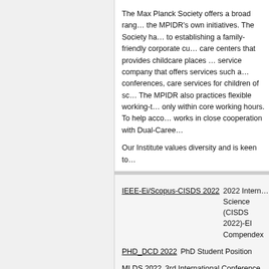The Max Planck Society offers a broad range of initiatives including the MPIDR's own initiatives. The Society has made a strong commitment to establishing a family-friendly corporate culture, including on-site childcare centers that provides childcare places for children, a pme family service company that offers services such as emergency childcare during conferences, care services for children of school age and much more. The MPIDR also practices flexible working-time models, obligatory only within core working hours. To help accommodate dual careers, it works in close cooperation with Dual-Career networks.
Our Institute values diversity and is keen to...
The Max Planck Society is committed to increasing the number of applications from such qualified individuals. areas where they are underrepresented and...
IEEE-Ei/Scopus-CISDS 2022   2022 International Conference on Computer Information Science (CISDS 2022)-EI Compendex
PHD_DCD 2022   PhD Student Position
MLDS 2022   3rd International Conference...
EuroParDS 2022   Euro-Par 2022 PhD Sym...
NLTM 2023   3rd International Conference...